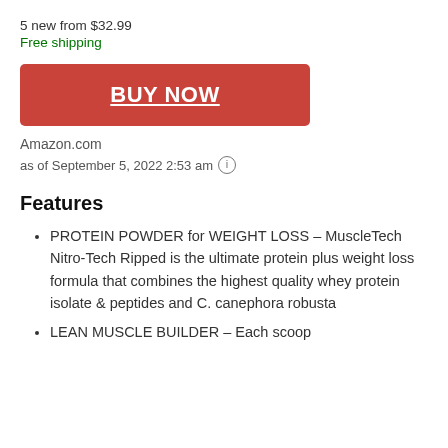5 new from $32.99
Free shipping
BUY NOW
Amazon.com
as of September 5, 2022 2:53 am ℹ
Features
PROTEIN POWDER for WEIGHT LOSS – MuscleTech Nitro-Tech Ripped is the ultimate protein plus weight loss formula that combines the highest quality whey protein isolate & peptides and C. canephora robusta
LEAN MUSCLE BUILDER – Each scoop